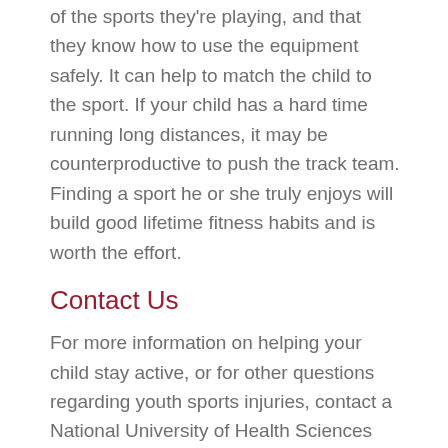of the sports they're playing, and that they know how to use the equipment safely. It can help to match the child to the sport. If your child has a hard time running long distances, it may be counterproductive to push the track team. Finding a sport he or she truly enjoys will build good lifetime fitness habits and is worth the effort.
Contact Us
For more information on helping your child stay active, or for other questions regarding youth sports injuries, contact a National University of Health Sciences Whole Health Center.